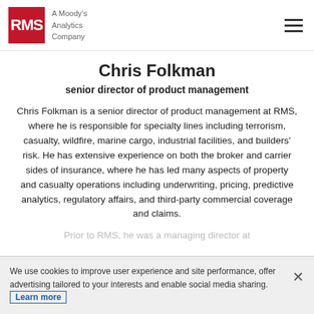RMS — A Moody's Analytics Company
Chris Folkman
senior director of product management
Chris Folkman is a senior director of product management at RMS, where he is responsible for specialty lines including terrorism, casualty, wildfire, marine cargo, industrial facilities, and builders' risk. He has extensive experience on both the broker and carrier sides of insurance, where he has led many aspects of property and casualty operations including underwriting, pricing, predictive analytics, regulatory affairs, and third-party commercial coverage and claims.
Prior to RMS, he was a managing director at...
We use cookies to improve user experience and site performance, offer advertising tailored to your interests and enable social media sharing. Learn more